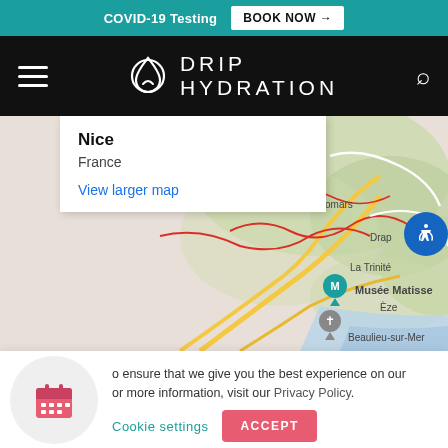COVID-19 Testing  BOOK NOW →
[Figure (logo): Drip Hydration logo with hamburger menu and search icon on black navigation bar]
[Figure (map): Google Maps showing Nice, France area with locations including Colomars, Drap, La Trinité, Musée Matisse, Èze, Beaulieu-sur-Mer. A popup shows 'Nice, France' with 'View larger map' link.]
o ensure that we give you the best experience on our or more information, visit our Privacy Policy.
Cookie settings   ACCEPT